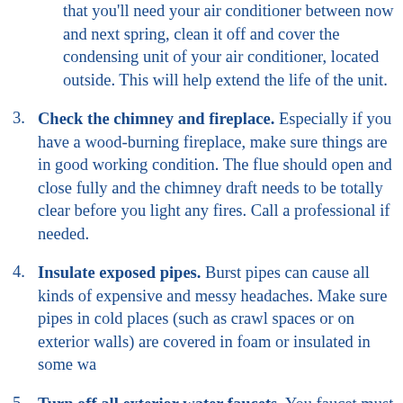that you'll need your air conditioner between now and next spring, clean it off and cover the condensing unit of your air conditioner, located outside. This will help extend the life of the unit.
3. Check the chimney and fireplace. Especially if you have a wood-burning fireplace, make sure things are in good working condition. The flue should open and close fully and the chimney draft needs to be totally clear before you light any fires. Call a professional if needed.
4. Insulate exposed pipes. Burst pipes can cause all kinds of expensive and messy headaches. Make sure pipes in cold places (such as crawl spaces or on exterior walls) are covered in foam or insulated in some wa...
5. Turn off all exterior water faucets. You... faucet must be turned off so that there's no...